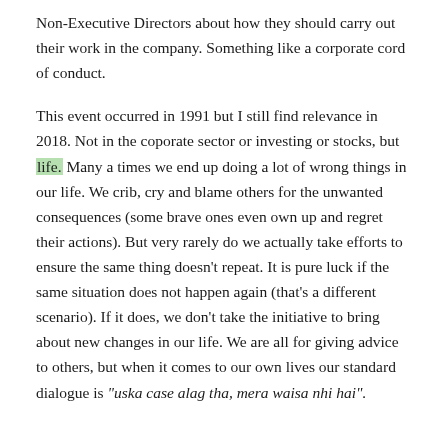Non-Executive Directors about how they should carry out their work in the company. Something like a corporate cord of conduct.
This event occurred in 1991 but I still find relevance in 2018. Not in the coporate sector or investing or stocks, but life. Many a times we end up doing a lot of wrong things in our life. We crib, cry and blame others for the unwanted consequences (some brave ones even own up and regret their actions). But very rarely do we actually take efforts to ensure the same thing doesn't repeat. It is pure luck if the same situation does not happen again (that's a different scenario). If it does, we don't take the initiative to bring about new changes in our life. We are all for giving advice to others, but when it comes to our own lives our standard dialogue is "uska case alag tha, mera waisa nhi hai".